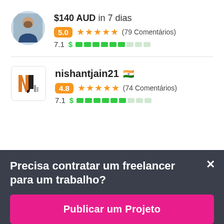$140 AUD in 7 dias
5.0 ★★★★★ (79 Comentários)
7.1 $ [progress bar]
nishantjain21 🇮🇳
4.8 ★★★★★ (74 Comentários)
7.1 $ [progress bar]
Precisa contratar um freelancer para um trabalho?
Publicar um Projeto